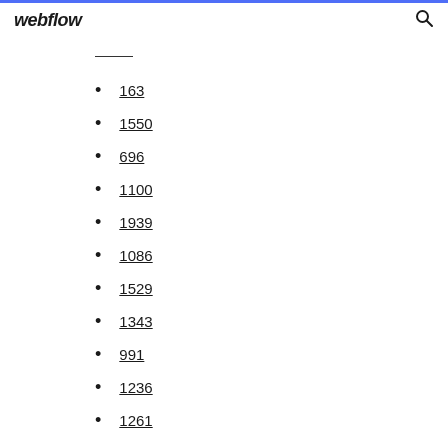webflow
163
1550
696
1100
1939
1086
1529
1343
991
1236
1261
795